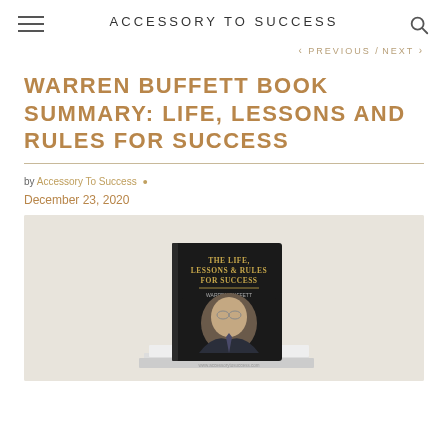ACCESSORY TO SUCCESS
< PREVIOUS / NEXT >
WARREN BUFFETT BOOK SUMMARY: LIFE, LESSONS AND RULES FOR SUCCESS
by Accessory To Success • December 23, 2020
[Figure (photo): Book cover of 'The Life, Lessons & Rules For Success' featuring Warren Buffett, stacked on other books, against a light beige background.]